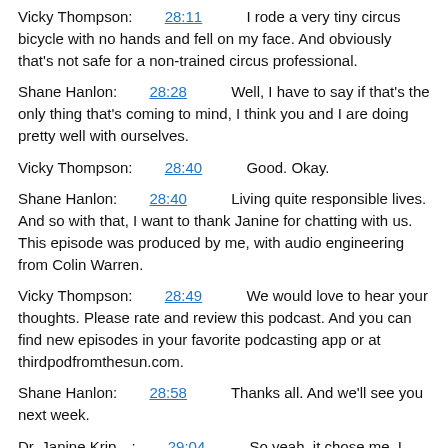Vicky Thompson: 28:11 I rode a very tiny circus bicycle with no hands and fell on my face. And obviously that's not safe for a non-trained circus professional.
Shane Hanlon: 28:28 Well, I have to say if that's the only thing that's coming to mind, I think you and I are doing pretty well with ourselves.
Vicky Thompson: 28:40 Good. Okay.
Shane Hanlon: 28:40 Living quite responsible lives. And so with that, I want to thank Janine for chatting with us. This episode was produced by me, with audio engineering from Colin Warren.
Vicky Thompson: 28:49 We would love to hear your thoughts. Please rate and review this podcast. And you can find new episodes in your favorite podcasting app or at thirdpodfromthesun.com.
Shane Hanlon: 28:58 Thanks all. And we'll see you next week.
Dr. Janine Krip…: 29:04 So yeah, it chose me, I guess. I didn't chose volcanoes. The volcano life chose me.
Shane Hanlon: 29:12 Like when people get a